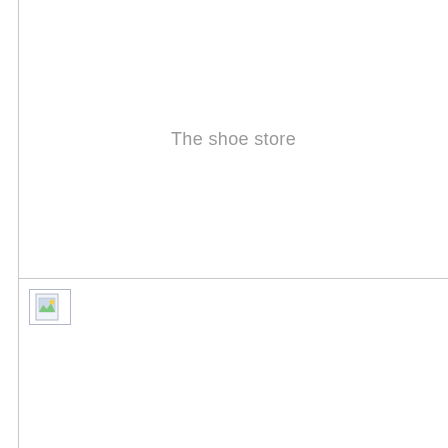The shoe store
[Figure (illustration): Broken image placeholder icon with blue/green tones, small document-with-image icon, positioned at top-left of the bottom section]